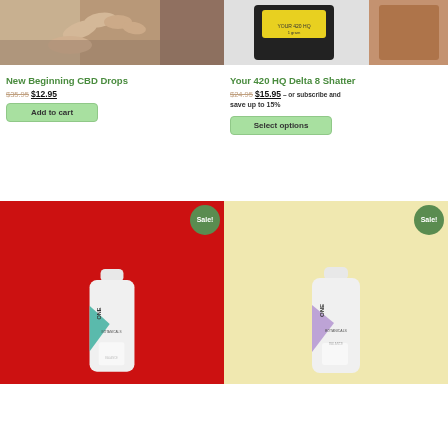[Figure (photo): Hand holding small CBD drop product]
[Figure (photo): Your 420 HQ Delta 8 Shatter product in black packaging with yellow label]
New Beginning CBD Drops
$35.95 $12.95
Add to cart
Your 420 HQ Delta 8 Shatter
$24.95 $15.95 – or subscribe and save up to 15%
Select options
[Figure (photo): One Botanicals supplement bottle on red background with Sale badge]
[Figure (photo): One Botanicals supplement bottle on yellow background with Sale badge]